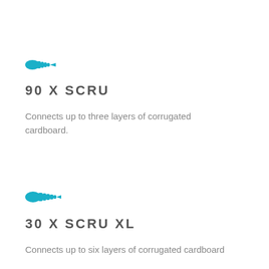[Figure (illustration): Teal/cyan screw icon]
90 X SCRU
Connects up to three layers of corrugated cardboard.
[Figure (illustration): Teal/cyan screw icon]
30 X SCRU XL
Connects up to six layers of corrugated cardboard